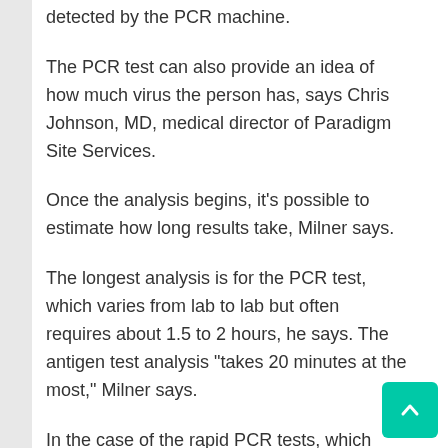detected by the PCR machine.
The PCR test can also provide an idea of how much virus the person has, says Chris Johnson, MD, medical director of Paradigm Site Services.
Once the analysis begins, it’s possible to estimate how long results take, Milner says.
The longest analysis is for the PCR test, which varies from lab to lab but often requires about 1.5 to 2 hours, he says. The antigen test analysis "takes 20 minutes at the most," Milner says.
In the case of the rapid PCR tests, which promise results in 1-2 hours or even less but can cost $300, the processing time may be